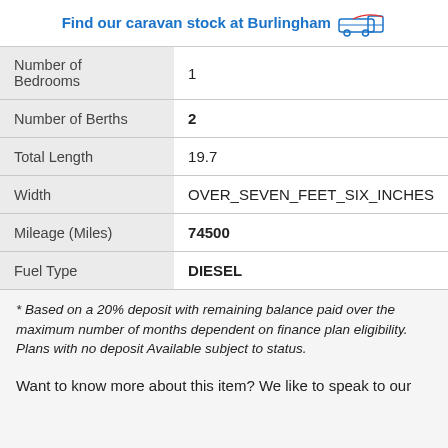Find our caravan stock at Burlingham
| Field | Value |
| --- | --- |
| Number of Bedrooms | 1 |
| Number of Berths | 2 |
| Total Length | 19.7 |
| Width | OVER_SEVEN_FEET_SIX_INCHES |
| Mileage (Miles) | 74500 |
| Fuel Type | DIESEL |
* Based on a 20% deposit with remaining balance paid over the maximum number of months dependent on finance plan eligibility. Plans with no deposit Available subject to status.
Want to know more about this item? We like to speak to our